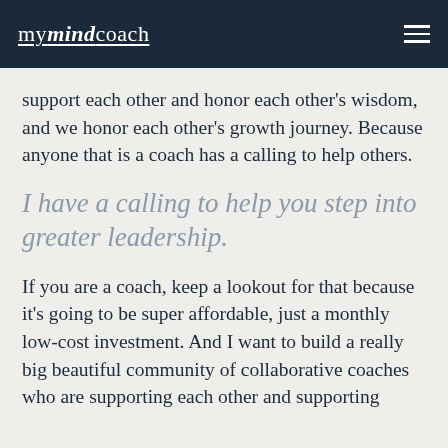mymindcoach
support each other and honor each other's wisdom, and we honor each other's growth journey. Because anyone that is a coach has a calling to help others.
I have a calling to help you step into greater leadership.
If you are a coach, keep a lookout for that because it's going to be super affordable, just a monthly low-cost investment. And I want to build a really big beautiful community of collaborative coaches who are supporting each other and supporting